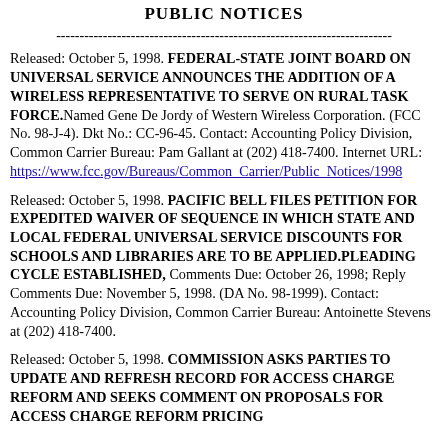PUBLIC NOTICES
------------------------------------------------------------------------
Released: October 5, 1998. FEDERAL-STATE JOINT BOARD ON UNIVERSAL SERVICE ANNOUNCES THE ADDITION OF A WIRELESS REPRESENTATIVE TO SERVE ON RURAL TASK FORCE.Named Gene De Jordy of Western Wireless Corporation. (FCC No. 98-J-4). Dkt No.: CC-96-45. Contact: Accounting Policy Division, Common Carrier Bureau: Pam Gallant at (202) 418-7400. Internet URL: https://www.fcc.gov/Bureaus/Common_Carrier/Public_Notices/1998
Released: October 5, 1998. PACIFIC BELL FILES PETITION FOR EXPEDITED WAIVER OF SEQUENCE IN WHICH STATE AND LOCAL FEDERAL UNIVERSAL SERVICE DISCOUNTS FOR SCHOOLS AND LIBRARIES ARE TO BE APPLIED.PLEADING CYCLE ESTABLISHED, Comments Due: October 26, 1998; Reply Comments Due: November 5, 1998. (DA No. 98-1999). Contact: Accounting Policy Division, Common Carrier Bureau: Antoinette Stevens at (202) 418-7400.
Released: October 5, 1998. COMMISSION ASKS PARTIES TO UPDATE AND REFRESH RECORD FOR ACCESS CHARGE REFORM AND SEEKS COMMENT ON PROPOSALS FOR ACCESS CHARGE REFORM PRICING